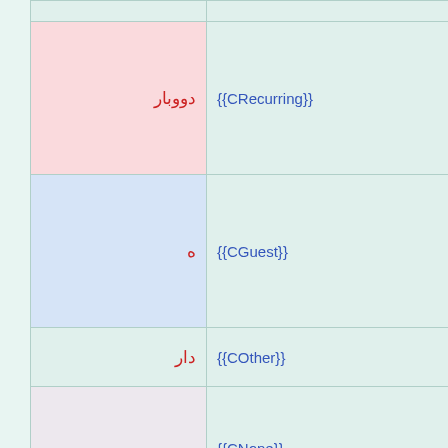| (RTL col) | Template |
| --- | --- |
| دووبار | {{CRecurring}} |
| ه | {{CGuest}} |
| دار | {{COther}} |
|  | {{CNone}} |
| دار | {{CEmpty}} |
| دایرتژه: | {{CRemoved}} |
| دایرێ | {{CFinalist}} |
table-cast